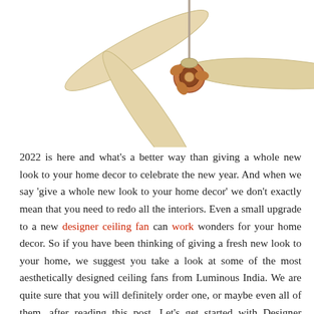[Figure (photo): A gold/cream colored three-blade ceiling fan with copper-colored motor housing, photographed against a white background, blades angled outward.]
2022 is here and what's a better way than giving a whole new look to your home decor to celebrate the new year. And when we say 'give a whole new look to your home decor' we don't exactly mean that you need to redo all the interiors. Even a small upgrade to a new designer ceiling fan can work wonders for your home decor. So if you have been thinking of giving a fresh new look to your home, we suggest you take a look at some of the most aesthetically designed ceiling fans from Luminous India. We are quite sure that you will definitely order one, or maybe even all of them, after reading this post. Let's get started with Designer Ceiling